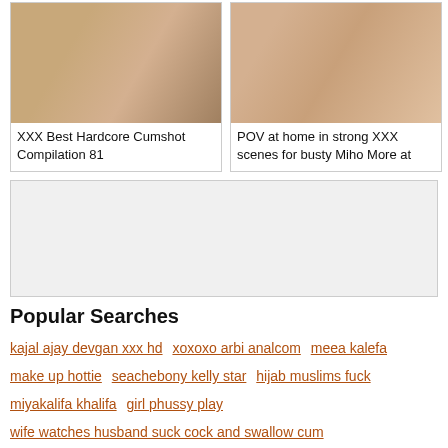[Figure (photo): Thumbnail image for XXX Best Hardcore Cumshot Compilation 81]
XXX Best Hardcore Cumshot Compilation 81
[Figure (photo): Thumbnail image for POV at home in strong XXX scenes for busty Miho More at]
POV at home in strong XXX scenes for busty Miho More at
[Figure (other): Advertisement box, gray background]
Popular Searches
kajal ajay devgan xxx hd
xoxoxo arbi analcom
meea kalefa
make up hottie
seachebony kelly star
hijab muslims fuck
miyakalifa khalifa
girl phussy play
wife watches husband suck cock and swallow cum